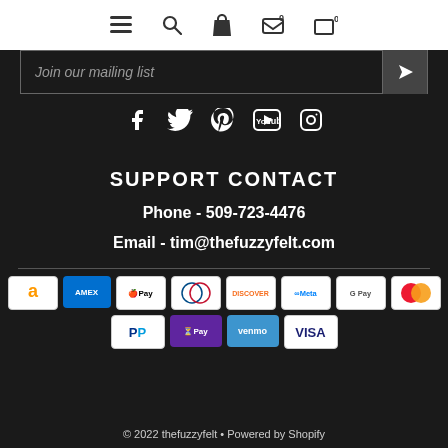Navigation bar with menu, search, account, and cart icons
Join our mailing list
[Figure (other): Social media icons: Facebook, Twitter, Pinterest, YouTube, Instagram]
SUPPORT CONTACT
Phone - 509-723-4476
Email - tim@thefuzzyfelt.com
[Figure (other): Payment method icons: Amazon, Amex, Apple Pay, Diners Club, Discover, Meta Pay, Google Pay, Mastercard, PayPal, OPay, Venmo, Visa]
© 2022 thefuzzyfelt • Powered by Shopify